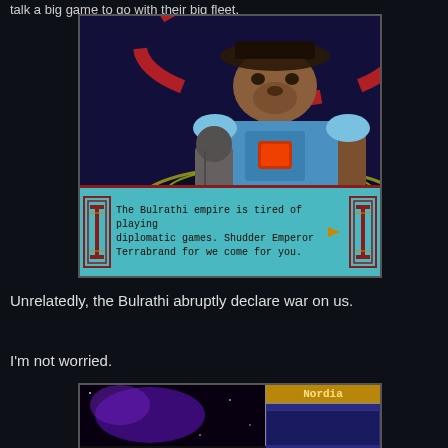talk a big game to go with their big fleet.
[Figure (screenshot): Video game screenshot showing a large bear-like alien creature in blue armor facing a smaller hooded human figure. A dialog box at the bottom reads: 'The Bulrathi empire is tired of playing diplomatic games. Shudder Emperor Terrabrand for we come for you.']
Unrelatedly, the Bulrathi abruptly declare war on us.
I'm not worried.
[Figure (screenshot): Partial video game screenshot showing a space scene on the left with purple nebula, and a panel on the right labeled 'Nordia']